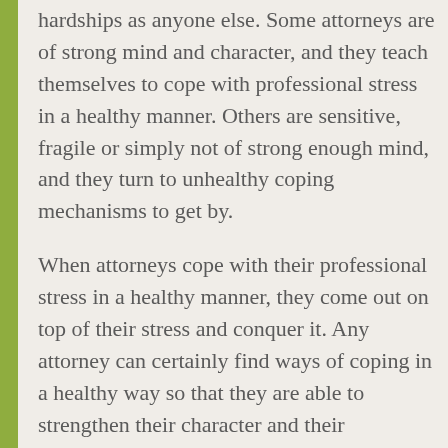hardships as anyone else. Some attorneys are of strong mind and character, and they teach themselves to cope with professional stress in a healthy manner. Others are sensitive, fragile or simply not of strong enough mind, and they turn to unhealthy coping mechanisms to get by.
When attorneys cope with their professional stress in a healthy manner, they come out on top of their stress and conquer it. Any attorney can certainly find ways of coping in a healthy way so that they are able to strengthen their character and their professional abilities. Since attorneys are high functioning individuals, they are at their best coping abilities when they find a stress release that suits their high functioning ways of